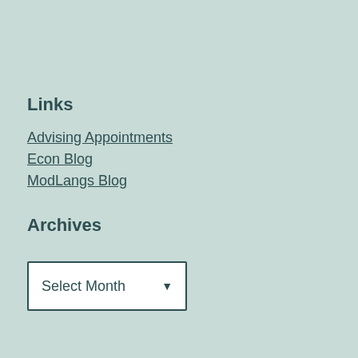Links
Advising Appointments
Econ Blog
ModLangs Blog
Archives
Select Month